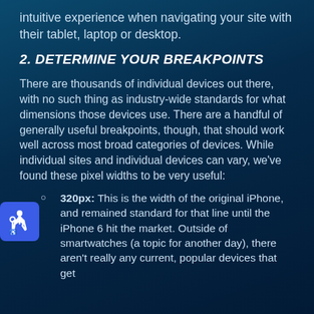intuitive experience when navigating your site with their tablet, laptop or desktop.
2. DETERMINE YOUR BREAKPOINTS
There are thousands of individual devices out there, with no such thing as industry-wide standards for what dimensions those devices use. There are a handful of generally useful breakpoints, though, that should work well across most broad categories of devices. While individual sites and individual devices can vary, we've found these pixel widths to be very useful:
320px: This is the width of the original iPhone, and remained standard for that line until the iPhone 6 hit the market. Outside of smartwatches (a topic for another day), there aren't really any current, popular devices that get